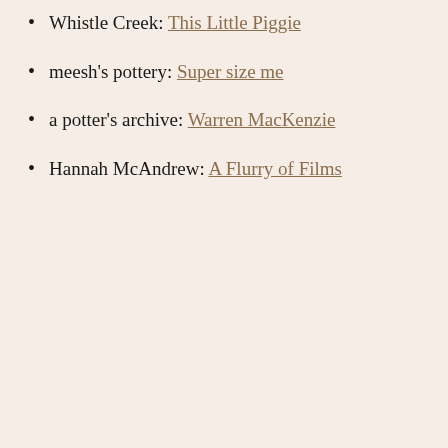Whistle Creek: This Little Piggie
meesh’s pottery: Super size me
a potter’s archive: Warren MacKenzie
Hannah McAndrew: A Flurry of Films